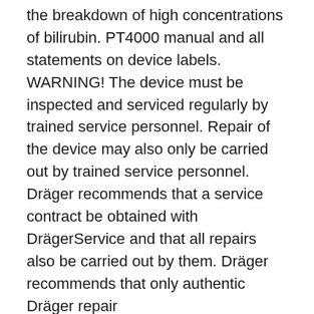the breakdown of high concentrations of bilirubin. PT4000 manual and all statements on device labels. WARNING! The device must be inspected and serviced regularly by trained service personnel. Repair of the device may also only be carried out by trained service personnel. Dräger recommends that a service contract be obtained with DrägerService and that all repairs also be carried out by them. Dräger recommends that only authentic Dräger repair
There are several methods of delivering phototherapy, all of which administer different dosages of spectral irradiance (light intensity) to the infant. The only way to ascertain the actual dose received is to measure the irradiance at the